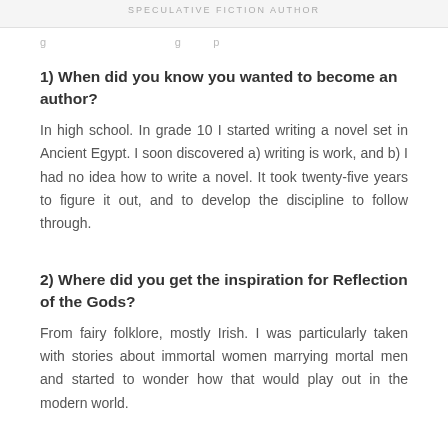SPECULATIVE FICTION AUTHOR
g ... g ... p
1) When did you know you wanted to become an author?
In high school. In grade 10 I started writing a novel set in Ancient Egypt. I soon discovered a) writing is work, and b) I had no idea how to write a novel. It took twenty-five years to figure it out, and to develop the discipline to follow through.
2) Where did you get the inspiration for Reflection of the Gods?
From fairy folklore, mostly Irish. I was particularly taken with stories about immortal women marrying mortal men and started to wonder how that would play out in the modern world.